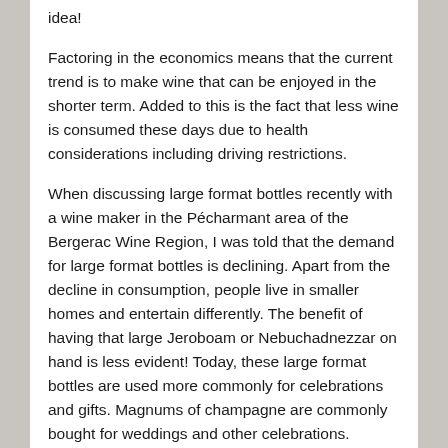idea!
Factoring in the economics means that the current trend is to make wine that can be enjoyed in the shorter term. Added to this is the fact that less wine is consumed these days due to health considerations including driving restrictions.
When discussing large format bottles recently with a wine maker in the Pécharmant area of the Bergerac Wine Region, I was told that the demand for large format bottles is declining.   Apart from the decline in consumption, people live in smaller homes and entertain differently. The benefit of having that large Jeroboam or Nebuchadnezzar on hand is less evident!   Today, these large format bottles are used more commonly for celebrations and gifts. Magnums of champagne are commonly bought for weddings and other celebrations.   Magnums, Jeroboams, Salamanzars and even Nebuchadnezzars of fine wine are used as gifts and are generally specially ordered from the relevant chateau or winery.